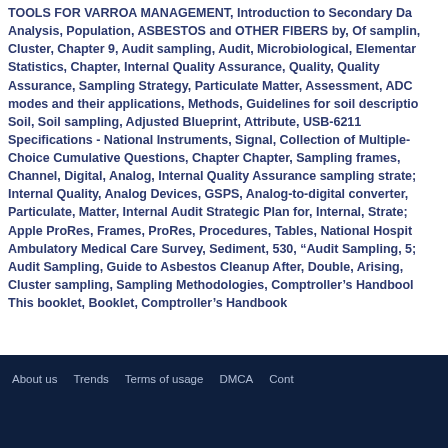TOOLS FOR VARROA MANAGEMENT, Introduction to Secondary Data Analysis, Population, ASBESTOS and OTHER FIBERS by, Of sampling, Cluster, Chapter 9, Audit sampling, Audit, Microbiological, Elementary Statistics, Chapter, Internal Quality Assurance, Quality, Quality Assurance, Sampling Strategy, Particulate Matter, Assessment, ADC modes and their applications, Methods, Guidelines for soil description, Soil, Soil sampling, Adjusted Blueprint, Attribute, USB-6211 Specifications - National Instruments, Signal, Collection of Multiple-Choice Cumulative Questions, Chapter Chapter, Sampling frames, Channel, Digital, Analog, Internal Quality Assurance sampling strategy, Internal Quality, Analog Devices, GSPS, Analog-to-digital converter, Particulate, Matter, Internal Audit Strategic Plan for, Internal, Strategy, Apple ProRes, Frames, ProRes, Procedures, Tables, National Hospital Ambulatory Medical Care Survey, Sediment, 530, “Audit Sampling, 53, Audit Sampling, Guide to Asbestos Cleanup After, Double, Arising, Cluster sampling, Sampling Methodologies, Comptroller's Handbook, This booklet, Booklet, Comptroller's Handbook
About us   Trends   Terms of usage   DMCA   Cont   ⚡ AMP vers   © BDE4BRO.com 2